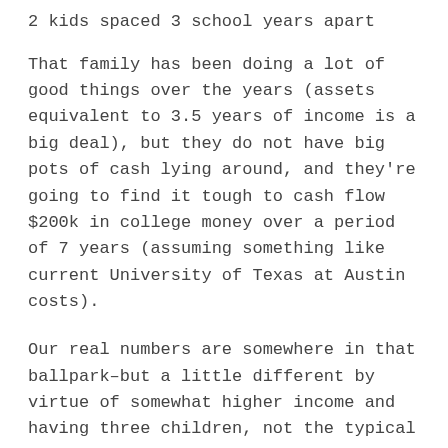2 kids spaced 3 school years apart
That family has been doing a lot of good things over the years (assets equivalent to 3.5 years of income is a big deal), but they do not have big pots of cash lying around, and they're going to find it tough to cash flow $200k in college money over a period of 7 years (assuming something like current University of Texas at Austin costs).
Our real numbers are somewhere in that ballpark–but a little different by virtue of somewhat higher income and having three children, not the typical two, and with a big space between #2 and #3.